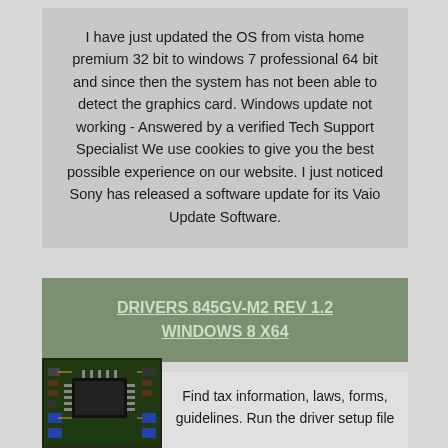I have just updated the OS from vista home premium 32 bit to windows 7 professional 64 bit and since then the system has not been able to detect the graphics card. Windows update not working - Answered by a verified Tech Support Specialist We use cookies to give you the best possible experience on our website. I just noticed Sony has released a software update for its Vaio Update Software.
DRIVERS 845GV-M2 REV 1.2 WINDOWS 8 X64
[Figure (photo): A photograph of a green circuit board PCB component]
Find tax information, laws, forms, guidelines. Run the driver setup file